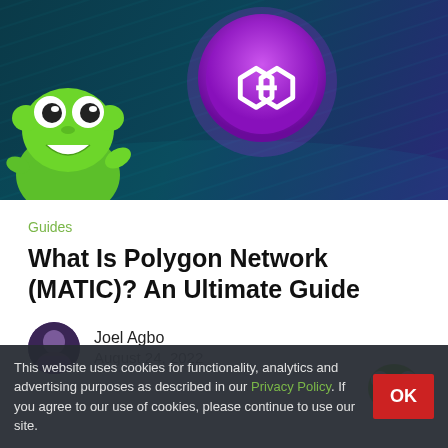[Figure (illustration): Hero banner with dark teal/navy wavy background. A green frog mascot is on the left bottom, a large purple Polygon (MATIC) coin with the infinity-link logo is center-top.]
Guides
What Is Polygon Network (MATIC)? An Ultimate Guide
Joel Agbo
August 24, 2022
This website uses cookies for functionality, analytics and advertising purposes as described in our Privacy Policy. If you agree to our use of cookies, please continue to use our site.